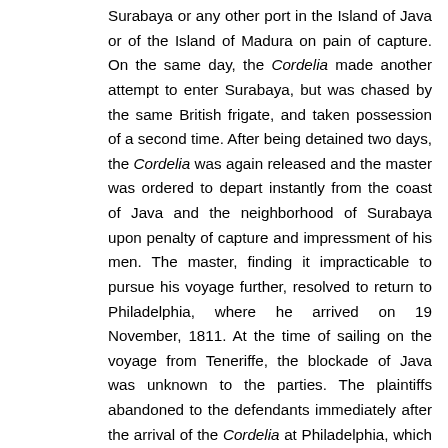Surabaya or any other port in the Island of Java or of the Island of Madura on pain of capture. On the same day, the Cordelia made another attempt to enter Surabaya, but was chased by the same British frigate, and taken possession of a second time. After being detained two days, the Cordelia was again released and the master was ordered to depart instantly from the coast of Java and the neighborhood of Surabaya upon penalty of capture and impressment of his men. The master, finding it impracticable to pursue his voyage further, resolved to return to Philadelphia, where he arrived on 19 November, 1811. At the time of sailing on the voyage from Teneriffe, the blockade of Java was unknown to the parties. The plaintiffs abandoned to the defendants immediately after the arrival of the Cordelia at Philadelphia, which gave them the first knowledge of the occurrences. The defendants refused to accept the abandonment.